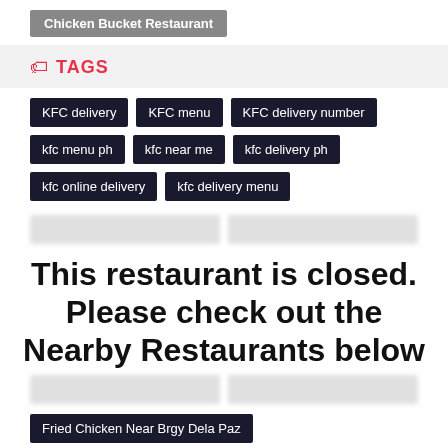Chicken Bucket Restaurant
TAGS
KFC delivery
KFC menu
KFC delivery number
kfc menu ph
kfc near me
kfc delivery ph
kfc online delivery
kfc delivery menu
This restaurant is closed. Please check out the Nearby Restaurants below
Fried Chicken Near Brgy Dela Paz
Chicken Restaurant